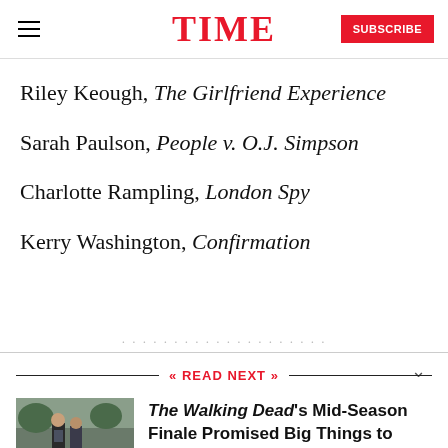TIME
Riley Keough, The Girlfriend Experience
Sarah Paulson, People v. O.J. Simpson
Charlotte Rampling, London Spy
Kerry Washington, Confirmation
READ NEXT
The Walking Dead's Mid-Season Finale Promised Big Things to Come